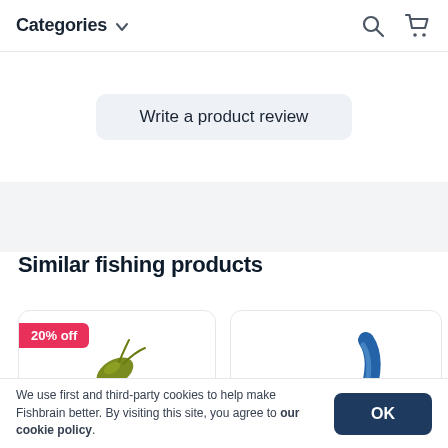Categories
Write a product review
Similar fishing products
[Figure (photo): Product card with '20% off' badge showing a green fishing lure (creature bait) against white background]
[Figure (photo): Product card showing a blue soft plastic fishing bait (worm/paddle tail) against white background]
We use first and third-party cookies to help make Fishbrain better. By visiting this site, you agree to our cookie policy.